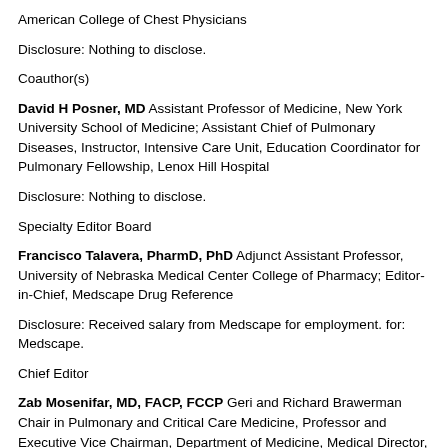American College of Chest Physicians
Disclosure: Nothing to disclose.
Coauthor(s)
David H Posner, MD Assistant Professor of Medicine, New York University School of Medicine; Assistant Chief of Pulmonary Diseases, Instructor, Intensive Care Unit, Education Coordinator for Pulmonary Fellowship, Lenox Hill Hospital
Disclosure: Nothing to disclose.
Specialty Editor Board
Francisco Talavera, PharmD, PhD Adjunct Assistant Professor, University of Nebraska Medical Center College of Pharmacy; Editor-in-Chief, Medscape Drug Reference
Disclosure: Received salary from Medscape for employment. for: Medscape.
Chief Editor
Zab Mosenifar, MD, FACP, FCCP Geri and Richard Brawerman Chair in Pulmonary and Critical Care Medicine, Professor and Executive Vice Chairman, Department of Medicine, Medical Director, Women's Guild Lung Institute, Cedars Sinai Medical Center, University of California, Los Angeles, David Geffen School of Medicine
Zab Mosenifar, MD, FACP, FCCP is a member of the following medical societies: American College of Chest Physicians, American College of